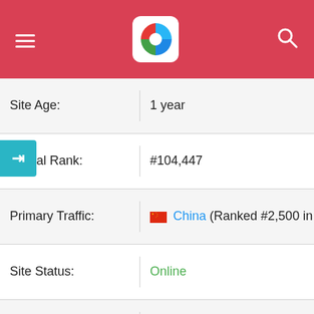Website info header bar with logo
| Field | Value |
| --- | --- |
| Site Age: | 1 year |
| Global Rank: | #104,447 |
| Primary Traffic: | China (Ranked #2,500 in China) |
| Site Status: | Online |
| Rating: | 2.5/5.0 Stars |
| SEO Score: | 46.9% |
| Load Time: | - |
| Web Safety: | - |